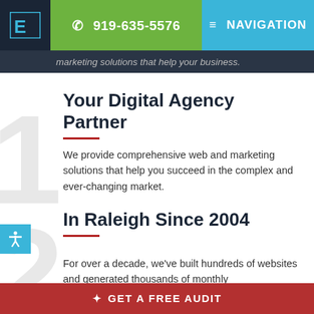919-635-5576 | NAVIGATION
marketing solutions that help your business.
Your Digital Agency Partner
We provide comprehensive web and marketing solutions that help you succeed in the complex and ever-changing market.
In Raleigh Since 2004
For over a decade, we've built hundreds of websites and generated thousands of monthly
GET A FREE AUDIT